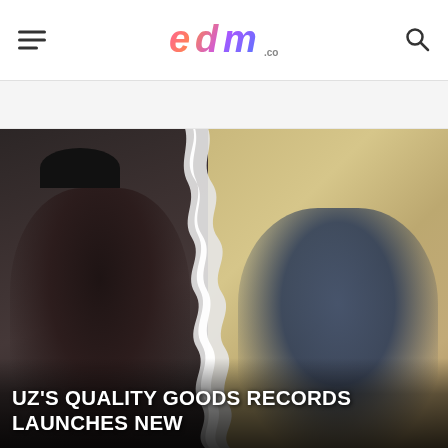edm.com
[Figure (photo): Two musicians side by side with a torn paper effect in the middle: on the left, a person wearing a black cap, sunglasses, and dark hoodie with tattoos on arms; on the right, a person with dreadlocks wearing a navy blue jacket and sunglasses, posing against a tan/beige wall.]
UZ'S QUALITY GOODS RECORDS LAUNCHES NEW